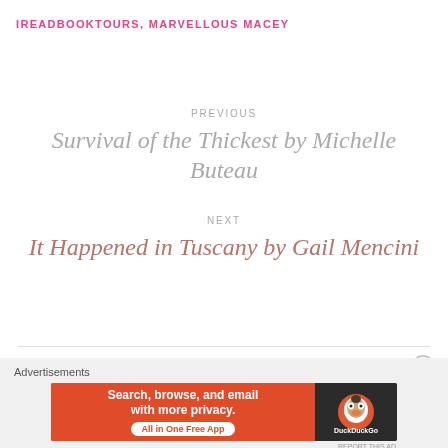IREADBOOKTOURS, MARVELLOUS MACEY
PREVIOUS
Survival of the Thickest by Michelle Buteau
NEXT
It Happened in Tuscany by Gail Mencini
[Figure (other): Advertisement banner: DuckDuckGo - Search, browse, and email with more privacy. All in One Free App]
Advertisements